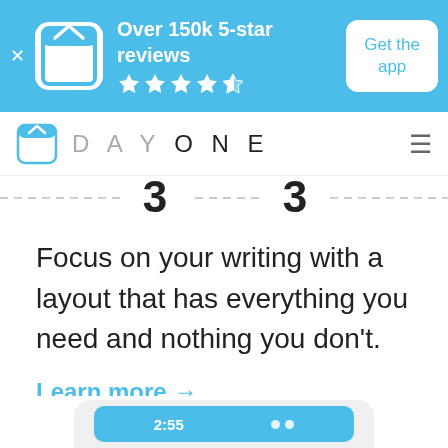[Figure (screenshot): App store banner with DayOne logo icon, text 'Over 150k 5-star reviews' with 4.5 stars, and 'Get the app' button on blue background]
[Figure (logo): DayOne app navigation bar with logo icon and hamburger menu]
[Figure (illustration): Decorative dashed line with numbers suggesting a journal entry layout]
Focus on your writing with a layout that has everything you need and nothing you don't.
Learn more →